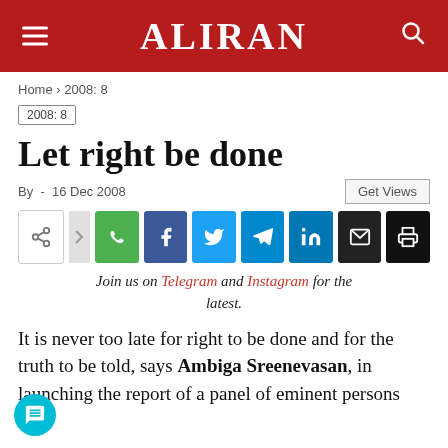ALIRAN
Home › 2008: 8
2008: 8
Let right be done
By  -  16 Dec 2008
Join us on Telegram and Instagram for the latest.
It is never too late for right to be done and for the truth to be told, says Ambiga Sreenevasan, in launching the report of a panel of eminent persons